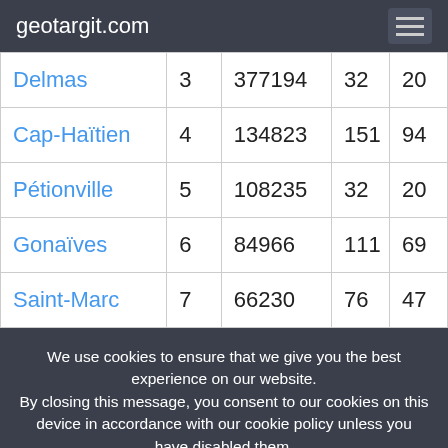geotargit.com
| Delmas | 3 | 377194 | 32 | 20 |
| Cap-Haïtien | 4 | 134823 | 151 | 94 |
| Pétionville | 5 | 108235 | 32 | 20 |
| Gonaïves | 6 | 84966 | 111 | 69 |
| Saint-Marc | 7 | 66230 | 76 | 47 |
We use cookies to ensure that we give you the best experience on our website. By closing this message, you consent to our cookies on this device in accordance with our cookie policy unless you have disabled them.
I Agree!